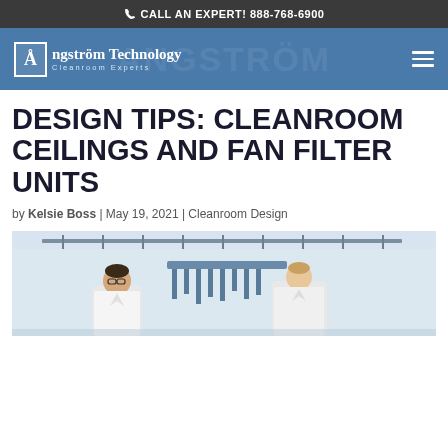CALL AN EXPERT! 888-768-6900
[Figure (logo): Angström Technology Cleanroom Experts logo on blue navigation bar with hamburger menu]
DESIGN TIPS: CLEANROOM CEILINGS AND FAN FILTER UNITS
by Kelsie Boss | May 19, 2021 | Cleanroom Design
[Figure (photo): Two people in white lab coats working in a cleanroom environment with ceiling mounted equipment visible overhead]